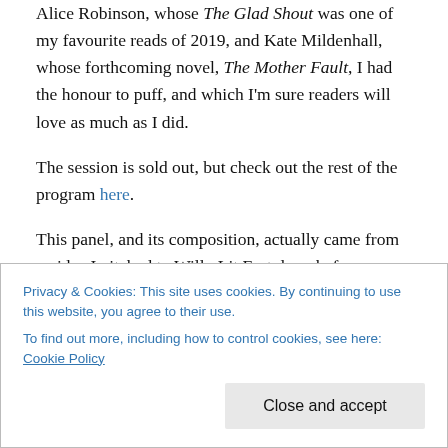Alice Robinson, whose The Glad Shout was one of my favourite reads of 2019, and Kate Mildenhall, whose forthcoming novel, The Mother Fault, I had the honour to puff, and which I'm sure readers will love as much as I did.
The session is sold out, but check out the rest of the program here.
This panel, and its composition, actually came from an idea I pitched to Willy Lit Fest, long before everything was corona-cancelled. I'm delighted that it will go ahead, albeit in a different format. As Brook Powell said of online
Privacy & Cookies: This site uses cookies. By continuing to use this website, you agree to their use.
To find out more, including how to control cookies, see here: Cookie Policy
Close and accept